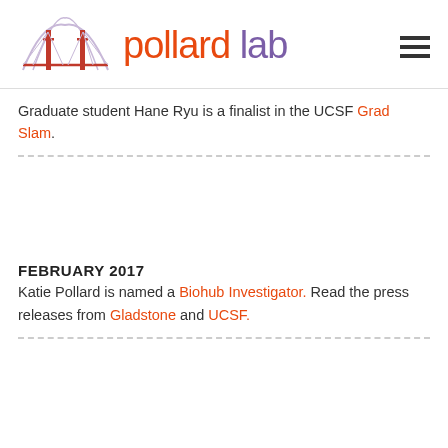[Figure (logo): Pollard Lab logo with Golden Gate Bridge graphic and text 'pollard lab' in orange and purple]
Graduate student Hane Ryu is a finalist in the UCSF Grad Slam.
FEBRUARY 2017
Katie Pollard is named a Biohub Investigator. Read the press releases from Gladstone and UCSF.